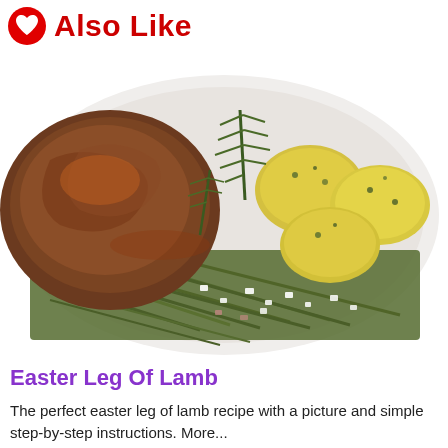Also Like
[Figure (photo): A plate of Easter leg of lamb with rosemary garnish, baby potatoes with herb butter, and green beans with chopped onions on a white plate.]
Easter Leg Of Lamb
The perfect easter leg of lamb recipe with a picture and simple step-by-step instructions. More...